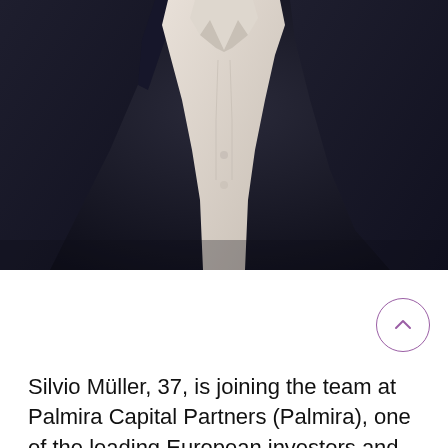[Figure (photo): Professional headshot photo showing a man wearing a dark navy suit jacket over a white dress shirt. The image is cropped from the shoulders/chest up, with a dark blurred background. The person is not fully visible — the face and top of the head are cut off at the top of the frame.]
Silvio Müller, 37, is joining the team at Palmira Capital Partners (Palmira), one of the leading European investors and asset managers of logistics and corporate real estate, as Fund